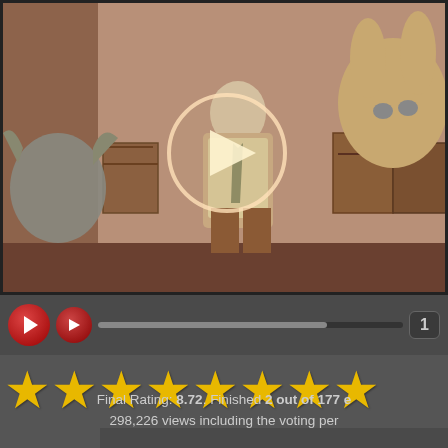[Figure (screenshot): Animated cartoon scene showing cartoon characters in a warehouse/storage room setting. A play button overlay (circular ring with triangle) is visible in the center of the video frame.]
[Figure (screenshot): Video player controls bar with two red circular play buttons, a progress bar (filled about 75%), and an episode/number badge showing '1' on the right side.]
[Figure (other): Row of 8 gold/yellow star rating icons displayed large.]
Final Rating: 8.72. Finished 2 out of 177 e... 298,226 views including the voting per...